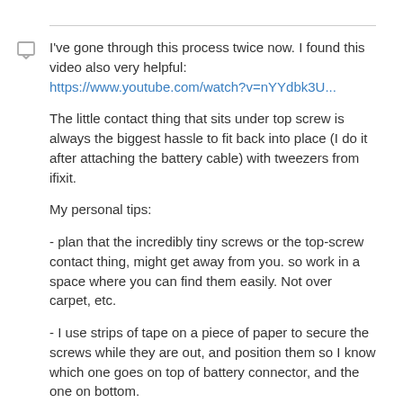I've gone through this process twice now. I found this video also very helpful: https://www.youtube.com/watch?v=nYYdbk3U...
The little contact thing that sits under top screw is always the biggest hassle to fit back into place (I do it after attaching the battery cable) with tweezers from ifixit.
My personal tips:
- plan that the incredibly tiny screws or the top-screw contact thing, might get away from you. so work in a space where you can find them easily. Not over carpet, etc.
- I use strips of tape on a piece of paper to secure the screws while they are out, and position them so I know which one goes on top of battery connector, and the one on bottom.
- If you have access to a spouse's/mate's iphone, in Accessibility settings there's a Magnifier option (triple-click home button) which does an amazing